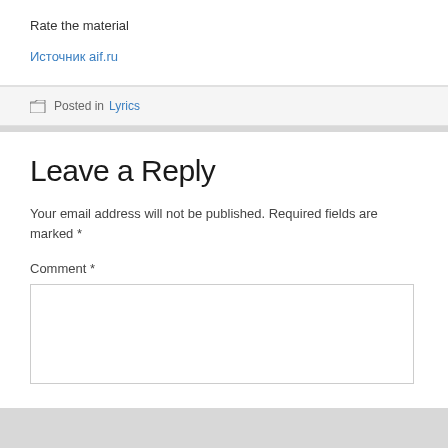Rate the material
Источник aif.ru
Posted in Lyrics
Leave a Reply
Your email address will not be published. Required fields are marked *
Comment *